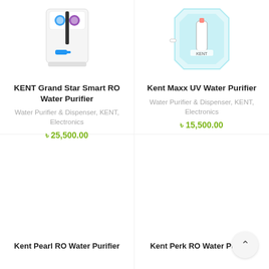[Figure (photo): KENT Grand Star Smart RO Water Purifier product image — white rectangular unit with blue accent]
KENT Grand Star Smart RO Water Purifier
Water Purifier & Dispenser, KENT, Electronics
৳ 25,500.00
[Figure (photo): Kent Maxx UV Water Purifier product image — white and teal/green transparent box unit]
Kent Maxx UV Water Purifier
Water Purifier & Dispenser, KENT, Electronics
৳ 15,500.00
[Figure (photo): Kent Pearl RO Water Purifier product image — lower card, partially visible]
Kent Pearl RO Water Purifier
[Figure (photo): Kent Perk RO Water Purifier product image — lower card, partially visible]
Kent Perk RO Water Purifier